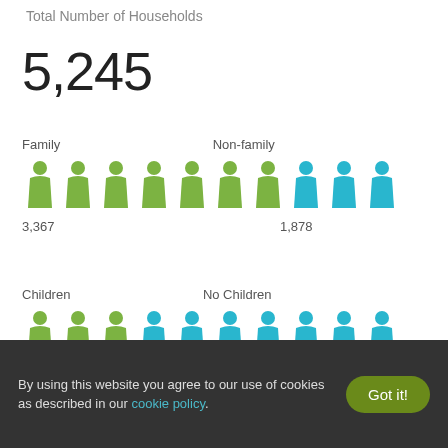Total Number of Households
5,245
[Figure (infographic): Waffle/isotype chart showing Family households (green person icons, 3,367) vs Non-family households (blue person icons, 1,878) out of 5,245 total households. 10 person icons total, ~6.4 green and ~3.6 blue proportionally shown as approximately 7 green and 3 blue.]
[Figure (infographic): Waffle/isotype chart showing households with Children (green person icons, 1,749) vs No Children (blue person icons, 3,496) out of 5,245 total households. 10 person icons total, ~3.3 green and ~6.7 blue proportionally shown as approximately 3 green and 7 blue.]
By using this website you agree to our use of cookies as described in our cookie policy.